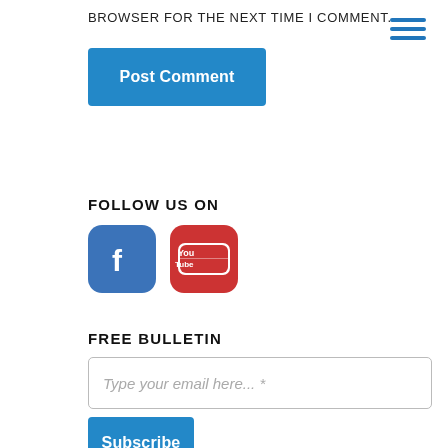BROWSER FOR THE NEXT TIME I COMMENT.
[Figure (other): Hamburger menu icon with three horizontal blue lines in top-right corner]
[Figure (other): Blue 'Post Comment' button]
FOLLOW US ON
[Figure (other): Facebook icon (blue rounded square with white 'f') and YouTube icon (red rounded square with 'You Tube' text)]
FREE BULLETIN
[Figure (other): Email input field with placeholder text 'Type your email here... *']
[Figure (other): Blue 'Subscribe' button (partially visible)]
[Figure (other): Empty input field at bottom]